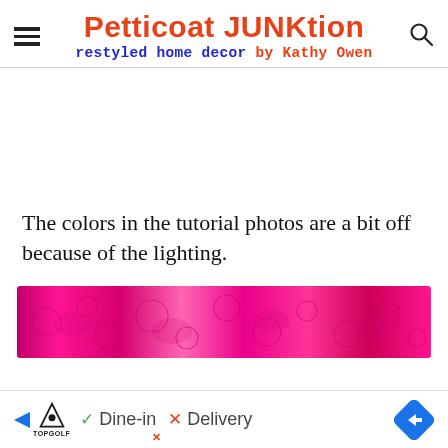Petticoat JUNKtion restyled home decor by Kathy Owen
The colors in the tutorial photos are a bit off because of the lighting.
[Figure (photo): Close-up photo of bright pink/magenta lace fabric with floral pattern]
[Figure (screenshot): Advertisement banner: TopGolf ad with Dine-in checkmark and Delivery X options, blue diamond arrow icon]